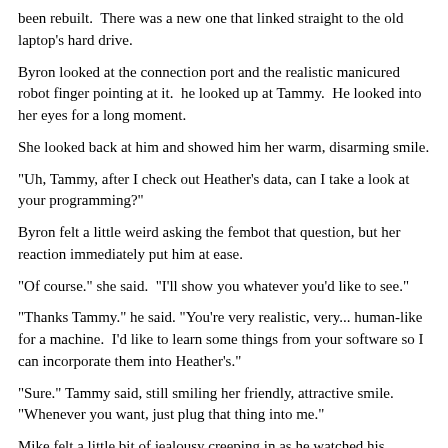been rebuilt.  There was a new one that linked straight to the old laptop's hard drive.
Byron looked at the connection port and the realistic manicured robot finger pointing at it.  he looked up at Tammy.  He looked into her eyes for a long moment.
She looked back at him and showed him her warm, disarming smile.
"Uh, Tammy, after I check out Heather's data, can I take a look at your programming?"
Byron felt a little weird asking the fembot that question, but her reaction immediately put him at ease.
"Of course." she said.  "I'll show you whatever you'd like to see."
"Thanks Tammy." he said. "You're very realistic, very... human-like for a machine.  I'd like to learn some things from your software so I can incorporate them into Heather's."
"Sure." Tammy said, still smiling her friendly, attractive smile.  "Whenever you want, just plug that thing into me."
Mike felt a little bit of jealousy creeping in as he watched his